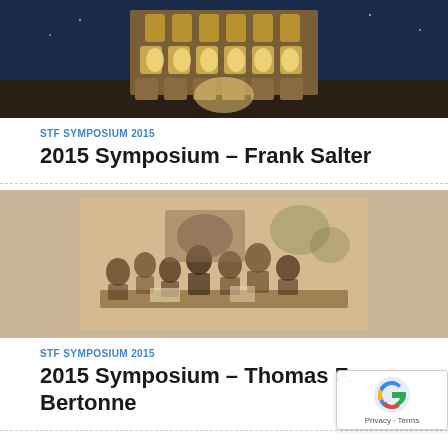[Figure (photo): Aerial night photo of the Colosseum in Rome, illuminated with golden/blue light]
STF SYMPOSIUM 2015
2015 Symposium – Frank Salter
[Figure (illustration): Sepia-toned sketch/etching of a group of people gathered around a table, appearing to be in a historical meeting or dinner scene]
STF SYMPOSIUM 2015
2015 Symposium – Thomas F. Bertonne